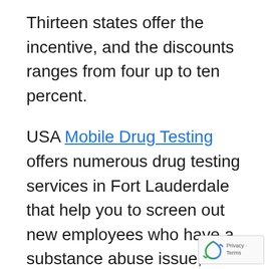Thirteen states offer the incentive, and the discounts ranges from four up to ten percent.
USA Mobile Drug Testing offers numerous drug testing services in Fort Lauderdale that help you to screen out new employees who have a substance abuse issue, discourage current employees from using drugs, and identify those who do. All while maintaining DOT compliance if you're